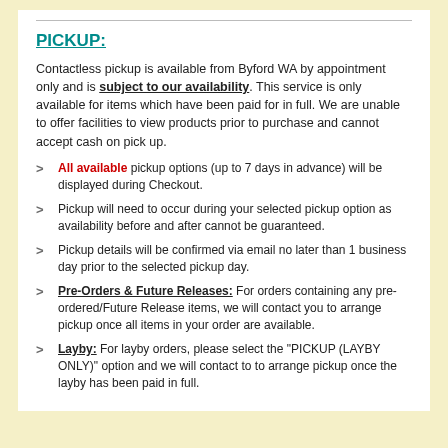PICKUP:
Contactless pickup is available from Byford WA by appointment only and is subject to our availability. This service is only available for items which have been paid for in full. We are unable to offer facilities to view products prior to purchase and cannot accept cash on pick up.
All available pickup options (up to 7 days in advance) will be displayed during Checkout.
Pickup will need to occur during your selected pickup option as availability before and after cannot be guaranteed.
Pickup details will be confirmed via email no later than 1 business day prior to the selected pickup day.
Pre-Orders & Future Releases: For orders containing any pre-ordered/Future Release items, we will contact you to arrange pickup once all items in your order are available.
Layby: For layby orders, please select the "PICKUP (LAYBY ONLY)" option and we will contact to to arrange pickup once the layby has been paid in full.